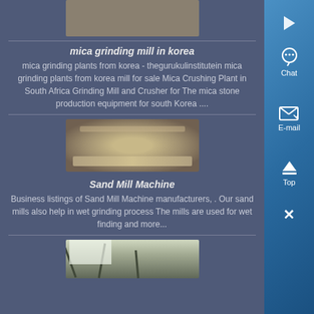[Figure (photo): Top partial image of industrial equipment on a floor]
mica grinding mill in korea
mica grinding plants from korea - thegurukulinstitutein mica grinding plants from korea mill for sale Mica Crushing Plant in South Africa Grinding Mill and Crusher for The mica stone production equipment for south Korea ....
[Figure (photo): Close-up photo of a grinding mill wheel or stone with sandy/rocky texture]
Sand Mill Machine
Business listings of Sand Mill Machine manufacturers, . Our sand mills also help in wet grinding process The mills are used for wet finding and more...
[Figure (photo): Partial bottom image of an industrial building interior with metal framework]